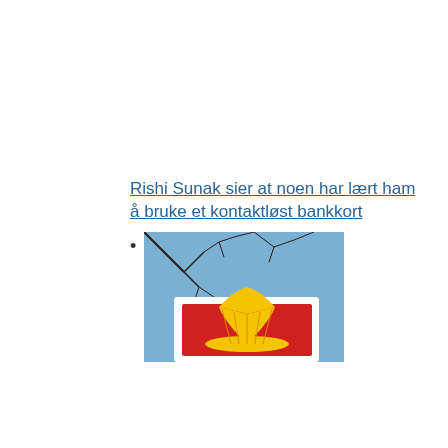Rishi Sunak sier at noen har lært ham å bruke et kontaktløst bankkort
[Figure (photo): Photo of a Shell petrol station sign (yellow shell logo on red background) against a blue sky with bare tree branches visible]